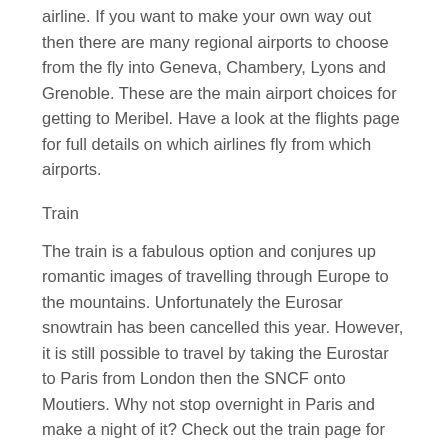airline. If you want to make your own way out then there are many regional airports to choose from the fly into Geneva, Chambery, Lyons and Grenoble. These are the main airport choices for getting to Meribel. Have a look at the flights page for full details on which airlines fly from which airports.
Train
The train is a fabulous option and conjures up romantic images of travelling through Europe to the mountains. Unfortunately the Eurosar snowtrain has been cancelled this year. However, it is still possible to travel by taking the Eurostar to Paris from London then the SNCF onto Moutiers. Why not stop overnight in Paris and make a night of it? Check out the train page for full details.
Ferry